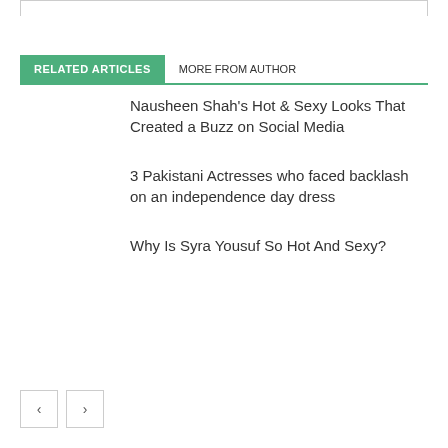RELATED ARTICLES
MORE FROM AUTHOR
Nausheen Shah's Hot & Sexy Looks That Created a Buzz on Social Media
3 Pakistani Actresses who faced backlash on an independence day dress
Why Is Syra Yousuf So Hot And Sexy?